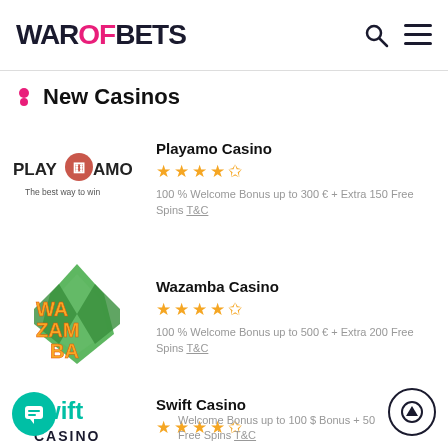WAROFBETS
New Casinos
Playamo Casino — 4.5 stars — 100 % Welcome Bonus up to 300 € + Extra 150 Free Spins T&C
Wazamba Casino — 4.5 stars — 100 % Welcome Bonus up to 500 € + Extra 200 Free Spins T&C
Swift Casino — 4.5 stars — Welcome Bonus up to 100 $ Bonus + 50 Free Spins T&C